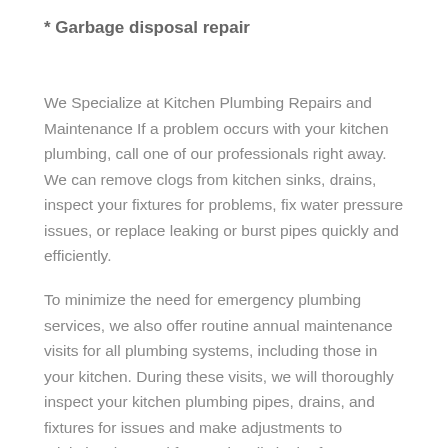* Garbage disposal repair
We Specialize at Kitchen Plumbing Repairs and Maintenance If a problem occurs with your kitchen plumbing, call one of our professionals right away. We can remove clogs from kitchen sinks, drains, inspect your fixtures for problems, fix water pressure issues, or replace leaking or burst pipes quickly and efficiently.
To minimize the need for emergency plumbing services, we also offer routine annual maintenance visits for all plumbing systems, including those in your kitchen. During these visits, we will thoroughly inspect your kitchen plumbing pipes, drains, and fixtures for issues and make adjustments to minimize the need for repair calls in the future. We